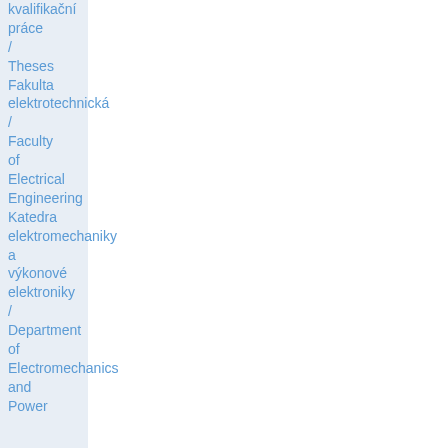kvalifikační práce / Theses Fakulta elektrotechnická / Faculty of Electrical Engineering Katedra elektromechaniky a výkonové elektroniky / Department of Electromechanics and Power